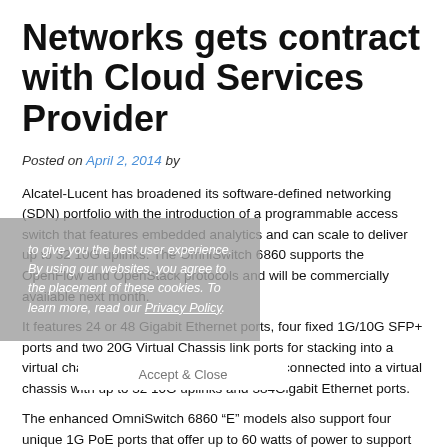Networks gets contract with Cloud Services Provider
Posted on April 2, 2014 by
Alcatel-Lucent has broadened its software-defined networking (SDN) portfolio with the introduction of a programmable access switch that features embedded analytics and can scale to deliver up to 32 10G uplinks. The OmniSwitch 6860 supports the OpenFlow and OpenStack protocols and will be commercially available next month.
It features 24 or 48 Gigabit Ethernet ports, four fixed 1G/10G SFP+ ports and two 20G Virtual Chassis link ports for stacking into a virtual chassis. Up to eight switches can be connected into a virtual chassis with up to 32 10G uplinks and 384Gigabit Ethernet ports.
The enhanced OmniSwitch 6860 "E" models also support four unique 1G PoE ports that offer up to 60 watts of power to support devices that require high power, such as small cells that combine cellular and Wi-Fi, and high definition video surveillance cameras